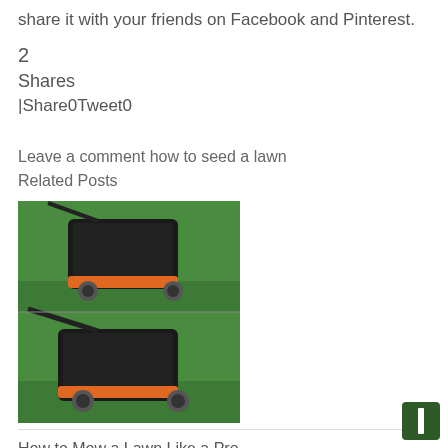share it with your friends on Facebook and Pinterest.
2
Shares
|Share0Tweet0
Leave a comment how to seed a lawn
Related Posts
[Figure (photo): Two stacked images of a black and orange lawn mower on green grass]
How to Mow a Lawn Like a Pro